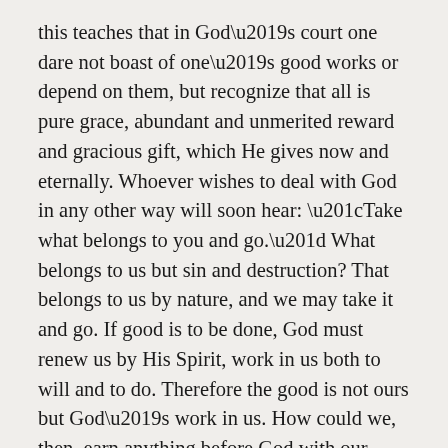this teaches that in God's court one dare not boast of one's good works or depend on them, but recognize that all is pure grace, abundant and unmerited reward and gracious gift, which He gives now and eternally. Whoever wishes to deal with God in any other way will soon hear: “Take what belongs to you and go.” What belongs to us but sin and destruction? That belongs to us by nature, and we may take it and go. If good is to be done, God must renew us by His Spirit, work in us both to will and to do. Therefore the good is not ours but God’s work in us. How could we, then, earn anything before God with our good works? We thereby become God’s debtors. He could not owe us anything.
Therefore we hold to the Apostle Paul’s words (Eph. 2:8): “By grace you have been saved through faith;